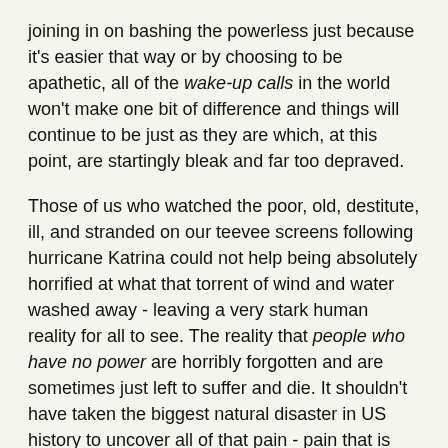joining in on bashing the powerless just because it's easier that way or by choosing to be apathetic, all of the wake-up calls in the world won't make one bit of difference and things will continue to be just as they are which, at this point, are startingly bleak and far too depraved.
Those of us who watched the poor, old, destitute, ill, and stranded on our teevee screens following hurricane Katrina could not help being absolutely horrified at what that torrent of wind and water washed away - leaving a very stark human reality for all to see. The reality that people who have no power are horribly forgotten and are sometimes just left to suffer and die. It shouldn't have taken the biggest natural disaster in US history to uncover all of that pain - pain that is still ongoing in that region and elsewhere while the rest of the country has moved on. Perhaps that's why it matters more now (or should, at least) when someone like Imus singles out African-American female athletes for totally unacceptable scorn.
The uneven balance or power that we all witnessed after hurricane Katrina did, for some at least, reveal a gaping.